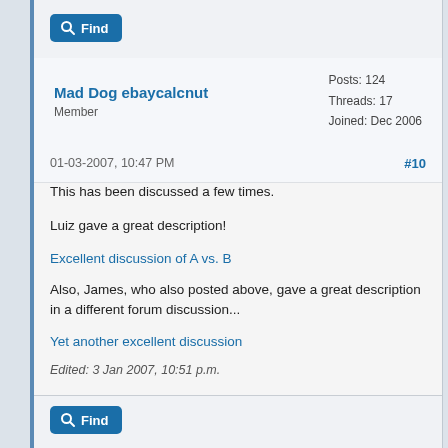Find
Mad Dog ebaycalcnut
Member
Posts: 124
Threads: 17
Joined: Dec 2006
01-03-2007, 10:47 PM
#10
This has been discussed a few times.
Luiz gave a great description!
Excellent discussion of A vs. B
Also, James, who also posted above, gave a great description in a different forum discussion...
Yet another excellent discussion
Edited: 3 Jan 2007, 10:51 p.m.
Find